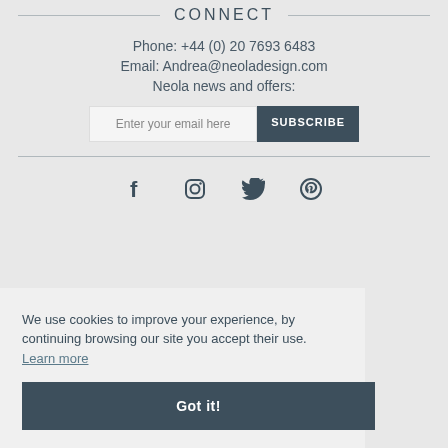CONNECT
Phone: +44 (0) 20 7693 6483
Email: Andrea@neoladesign.com
Neola news and offers:
[Figure (other): Email subscription input field with 'Enter your email here' placeholder and a dark 'SUBSCRIBE' button]
[Figure (other): Social media icons: Facebook, Instagram, Twitter, Pinterest]
We use cookies to improve your experience, by continuing browsing our site you accept their use. Learn more
Got it!
COPYRIGHT © 2022 NEOLA DESIGN